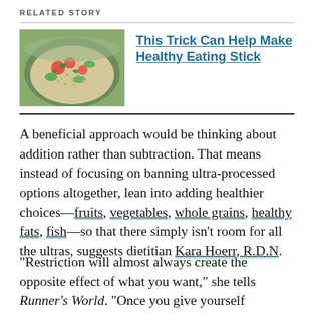RELATED STORY
[Figure (photo): Bowl of colorful grain salad with vegetables including tomatoes, cucumbers, and greens]
This Trick Can Help Make Healthy Eating Stick
A beneficial approach would be thinking about addition rather than subtraction. That means instead of focusing on banning ultra-processed options altogether, lean into adding healthier choices—fruits, vegetables, whole grains, healthy fats, fish—so that there simply isn't room for all the ultras, suggests dietitian Kara Hoerr, R.D.N.
“Restriction will almost always create the opposite effect of what you want,” she tells Runner's World. “Once you give yourself unconditional permission